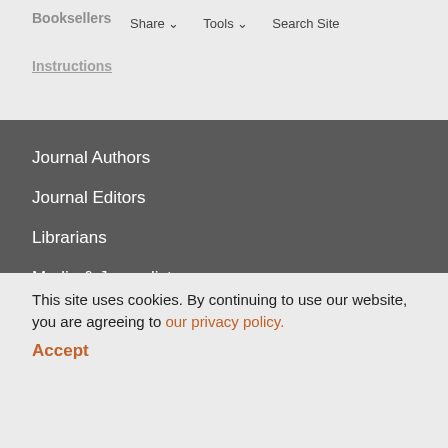Booksellers   Share ∨   Tools ∨   Search Site   Instructions
Journal Authors
Journal Editors
Librarians
Media & Journalists
SUPPORT US
Endowments
Membership
Planned Giving
Supporters
About Our Imprints
Careers
This site uses cookies. By continuing to use our website, you are agreeing to our privacy policy. Accept